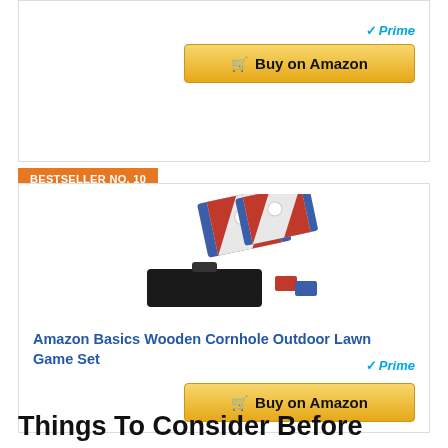[Figure (other): Buy on Amazon button with Prime badge at top of page (partial card)]
BESTSELLER NO. 10
[Figure (photo): Amazon Basics Wooden Cornhole Outdoor Lawn Game Set product photo showing two cornhole boards with red/blue/white design, a black carrying bag, and bean bags]
Amazon Basics Wooden Cornhole Outdoor Lawn Game Set
[Figure (other): Buy on Amazon button with Prime badge]
Things To Consider Before